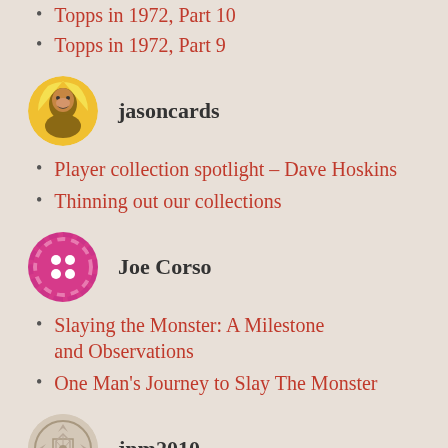Topps in 1972, Part 10
Topps in 1972, Part 9
jasoncards
Player collection spotlight – Dave Hoskins
Thinning out our collections
Joe Corso
Slaying the Monster: A Milestone and Observations
One Man's Journey to Slay The Monster
jnm2010